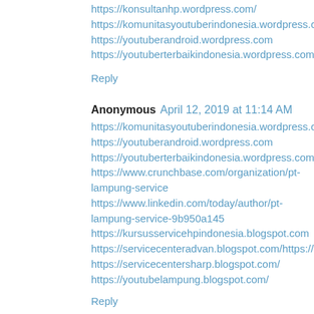https://konsultanhp.wordpress.com/
https://komunitasyoutuberindonesia.wordpress.com
https://youtuberandroid.wordpress.com
https://youtuberterbaikindonesia.wordpress.com
Reply
Anonymous  April 12, 2019 at 11:14 AM
https://komunitasyoutuberindonesia.wordpress.com
https://youtuberandroid.wordpress.com
https://youtuberterbaikindonesia.wordpress.com
https://www.crunchbase.com/organization/pt-lampung-service
https://www.linkedin.com/today/author/pt-lampung-service-9b950a145
https://kursusservicehpindonesia.blogspot.com
https://servicecenteradvan.blogspot.com/https://usahabisnisindonesia.wordpress.com
https://servicecentersharp.blogspot.com/
https://youtubelampung.blogspot.com/
Reply